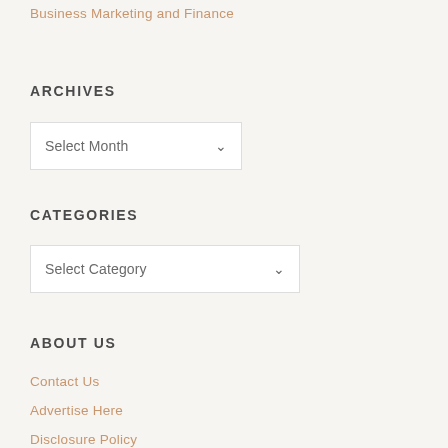Business Marketing and Finance
ARCHIVES
Select Month
CATEGORIES
Select Category
ABOUT US
Contact Us
Advertise Here
Disclosure Policy